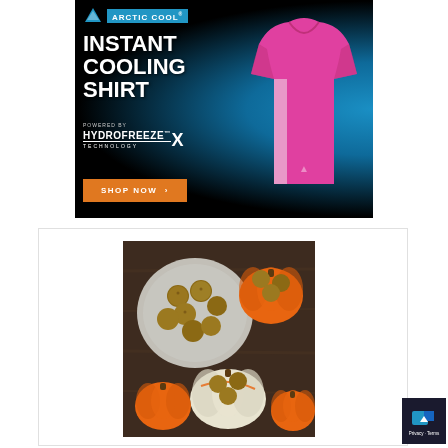[Figure (advertisement): Arctic Cool Instant Cooling Shirt advertisement. Black background with blue radial glow. Shows a pink women's athletic v-neck shirt. Text: ARCTIC COOL logo, INSTANT COOLING SHIRT in large white bold text, POWERED BY HYDROFREEZE X TECHNOLOGY, orange SHOP NOW button with arrow.]
[Figure (photo): Overhead photo of pumpkin energy balls (round oat/nut balls) arranged on small pumpkins and a plate, on a dark wooden surface. Small orange and white pumpkins visible.]